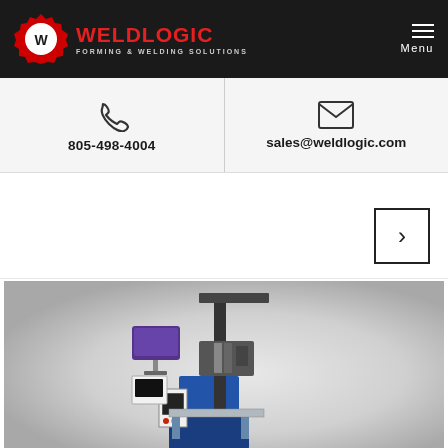WELDLOGIC — FORMING & WELDING SOLUTIONS
805-498-4004
sales@weldlogic.com
[Figure (photo): Industrial welding machine with CNC control panel, monitor arm, and robotic welding head mounted on a blue column/frame fixture]
Menu